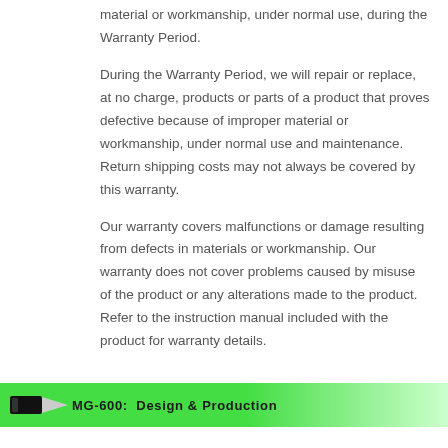material or workmanship, under normal use, during the Warranty Period.
During the Warranty Period, we will repair or replace, at no charge, products or parts of a product that proves defective because of improper material or workmanship, under normal use and maintenance. Return shipping costs may not always be covered by this warranty.
Our warranty covers malfunctions or damage resulting from defects in materials or workmanship. Our warranty does not cover problems caused by misuse of the product or any alterations made to the product. Refer to the instruction manual included with the product for warranty details.
MG-600: Design & Production
We have completed design, prototypes, and testing of